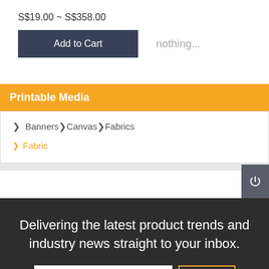S$19.00 ~ S$358.00
Add to Cart
nothing...
Printable Media
❯ Banners❯Canvas❯Fabrics
❯ Fabric
Delivering the latest product trends and industry news straight to your inbox.